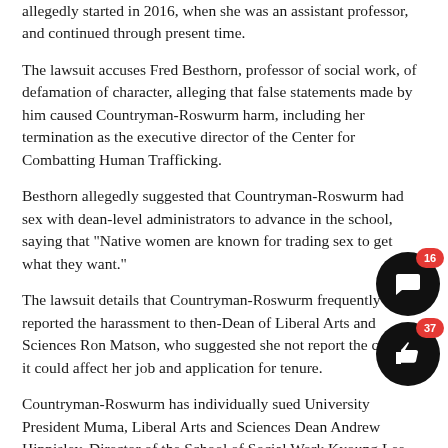allegedly started in 2016, when she was an assistant professor, and continued through present time.
The lawsuit accuses Fred Besthorn, professor of social work, of defamation of character, alleging that false statements made by him caused Countryman-Roswurm harm, including her termination as the executive director of the Center for Combatting Human Trafficking.
Besthorn allegedly suggested that Countryman-Roswurm had sex with dean-level administrators to advance in the school, saying that "Native women are known for trading sex to get what they want."
The lawsuit details that Countryman-Roswurm frequently reported the harassment to then-Dean of Liberal Arts and Sciences Ron Matson, who suggested she not report the cases as it could affect her job and application for tenure.
Countryman-Roswurm has individually sued University President Muma, Liberal Arts and Sciences Dean Andrew Hippisley, Director of the School of Social Work Kyoung Lee and Vice President for Student Engagement and Planning Kaye Monk-Morgan. The lawsuit says all parties had knowledge of the discrimination, harassment and